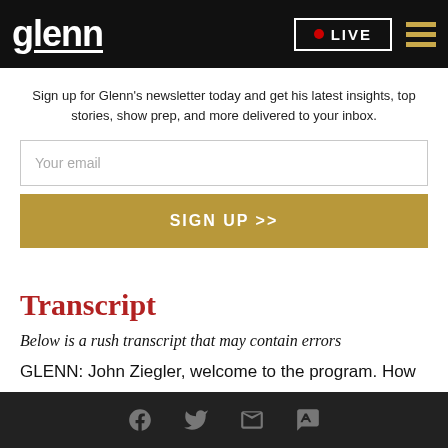glenn  LIVE
Sign up for Glenn's newsletter today and get his latest insights, top stories, show prep, and more delivered to your inbox.
Your email
SIGN UP >>
Transcript
Below is a rush transcript that may contain errors
GLENN: John Ziegler, welcome to the program. How